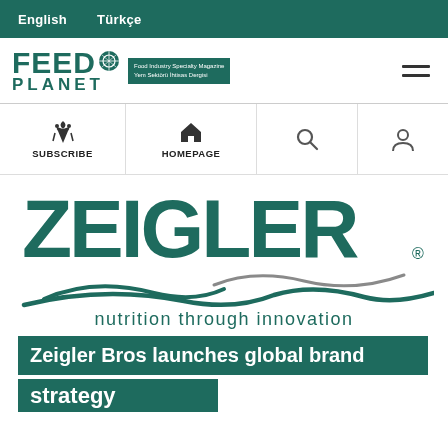English  Türkçe
[Figure (logo): Feed Planet magazine logo with tagline 'Food Industry Specialty Magazine / Yem Sektörü İhtisas Dergisi']
[Figure (logo): Zeigler brand logo with wave graphic and tagline 'nutrition through innovation']
Zeigler Bros launches global brand strategy